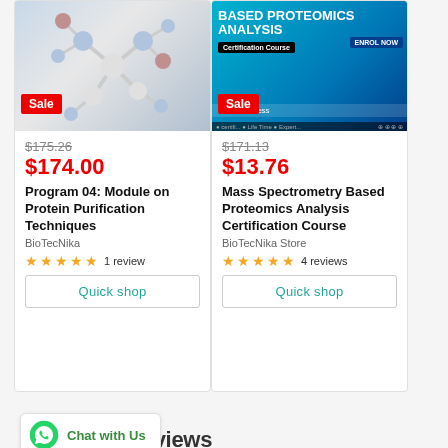[Figure (photo): Molecular structure model with blue, red and white spheres on grey background with Sale badge]
$175.26 (strikethrough)
$174.00
Program 04: Module on Protein Purification Techniques
BioTecNika
★★★★★ 1 review
Quick shop
[Figure (photo): Mass Spectrometry Based Proteomics Analysis Certification Course promotional banner with blue background and Sale badge]
$171.13 (strikethrough)
$13.76
Mass Spectrometry Based Proteomics Analysis Certification Course
BioTecNika Store
★★★★★ 4 reviews
Quick shop
[Figure (other): WhatsApp Chat with Us widget]
Customer Reviews